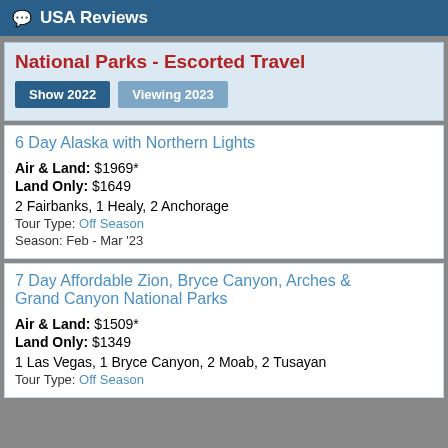USA Reviews
National Parks - Escorted Travel
Show 2022  Viewing 2023
6 Day Alaska with Northern Lights
Air & Land: $1969*
Land Only: $1649
2 Fairbanks, 1 Healy, 2 Anchorage
Tour Type: Off Season
Season: Feb - Mar '23
7 Day Affordable Zion, Bryce Canyon, Arches & Grand Canyon National Parks
Air & Land: $1509*
Land Only: $1349
1 Las Vegas, 1 Bryce Canyon, 2 Moab, 2 Tusayan
Tour Type: Off Season